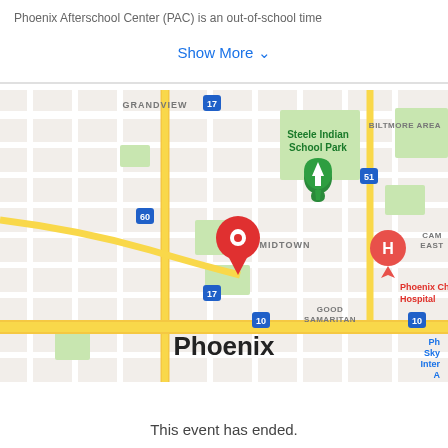Phoenix Afterschool Center (PAC) is an out-of-school time
Show More ∨
[Figure (map): Google Maps screenshot showing Phoenix, AZ area with a red location pin near Midtown Phoenix, Steele Indian School Park to the north with a green tree marker, Phoenix Children's Hospital marked with a red H icon, route markers for highways 17, 60, 51, and 10, neighborhood labels including GRANDVIEW, MIDTOWN, GOOD SAMARITAN, BILTMORE AREA, and the city name Phoenix in large bold text at the bottom.]
This event has ended.